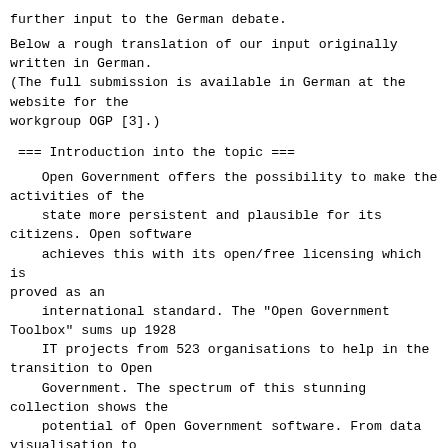further input to the German debate.
Below a rough translation of our input originally
written in German.
(The full submission is available in German at the
website for the
workgroup OGP [3].)
=== Introduction into the topic ===
Open Government offers the possibility to make the
activities of the
    state more persistent and plausible for its
citizens. Open software
    achieves this with its open/free licensing which is
proved as an
    international standard. The "Open Government
Toolbox" sums up 1928
    IT projects from 523 organisations to help in the
transition to Open
    Government. The spectrum of this stunning
collection shows the
    potential of Open Government software. From data
visualisation to
    participation tools and on up to tools for local
urban initiatives,
    numerous projects for administration and civil
society are already
    freely accessible.